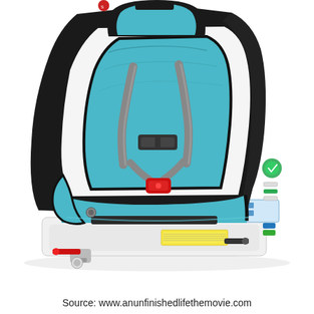[Figure (photo): A Britax convertible car seat (SafeCell technology) photographed on a white background. The seat features teal/aqua and black fabric padding, a 5-point harness with chest clip and buckle in red, a white plastic base with safety labels, LATCH connectors, installation indicators on the side, and the Britax logo visible at the top.]
Source: www.anunfinishedlifethemovie.com